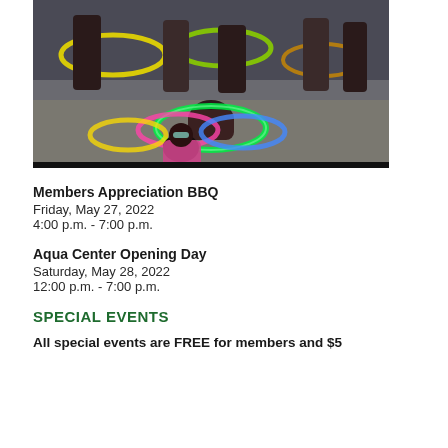[Figure (photo): Children playing with colorful hula hoops at an aqua center or outdoor venue. Several kids are visible, some standing and one sitting on the ground, with glowing colored hula hoops around them.]
Members Appreciation BBQ
Friday, May 27, 2022
4:00 p.m. - 7:00 p.m.
Aqua Center Opening Day
Saturday, May 28, 2022
12:00 p.m. - 7:00 p.m.
SPECIAL EVENTS
All special events are FREE for members and $5